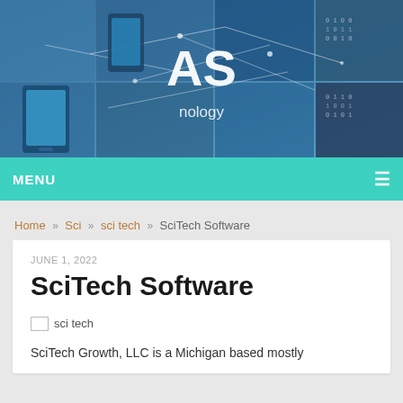[Figure (illustration): Website header banner with blue technology-themed background showing smartphones, world map network connections, laptops, and binary code. Large white text 'AS' centered with subtitle 'nology' partially visible.]
MENU ≡
Home » Sci » sci tech » SciTech Software
JUNE 1, 2022
SciTech Software
[Figure (illustration): Broken image placeholder with alt text 'sci tech']
SciTech Growth, LLC is a Michigan based mostly